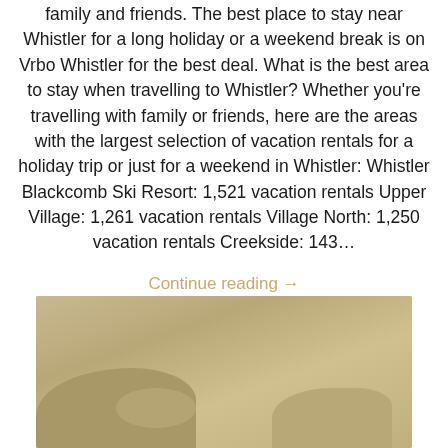family and friends. The best place to stay near Whistler for a long holiday or a weekend break is on Vrbo Whistler for the best deal. What is the best area to stay when travelling to Whistler? Whether you're travelling with family or friends, here are the areas with the largest selection of vacation rentals for a holiday trip or just for a weekend in Whistler: Whistler Blackcomb Ski Resort: 1,521 vacation rentals Upper Village: 1,261 vacation rentals Village North: 1,250 vacation rentals Creekside: 143…
Continue reading →
[Figure (photo): A muted, warm-toned photograph showing a landscape scene with soft sandy/golden tones, partially visible at the bottom of the page.]